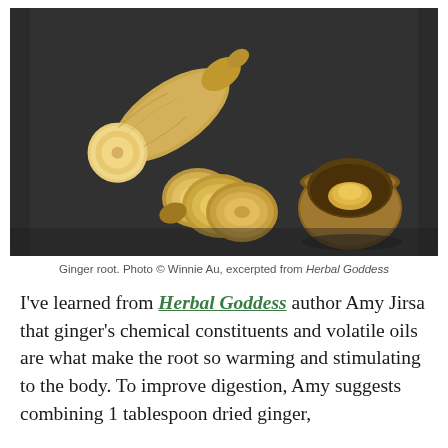[Figure (photo): Close-up photo of ginger root on a dark slate surface: a large piece of ginger root cut to show the pale yellow interior cross-section, with several thin round slices of ginger arranged nearby, and a small wooden bowl containing a piece of ginger, all on a dark gray background.]
Ginger root. Photo © Winnie Au, excerpted from Herbal Goddess
I've learned from Herbal Goddess author Amy Jirsa that ginger's chemical constituents and volatile oils are what make the root so warming and stimulating to the body. To improve digestion, Amy suggests combining 1 tablespoon dried ginger,